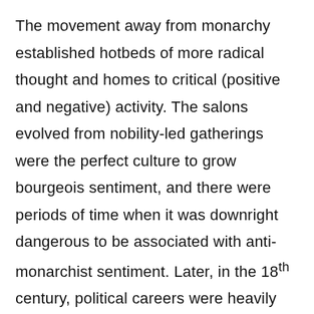The movement away from monarchy established hotbeds of more radical thought and homes to critical (positive and negative) activity. The salons evolved from nobility-led gatherings were the perfect culture to grow bourgeois sentiment, and there were periods of time when it was downright dangerous to be associated with anti-monarchist sentiment. Later, in the 18th century, political careers were heavily influenced by salon discussion, partially due to the open nature of political discussion and the realization by men of the salon's value.